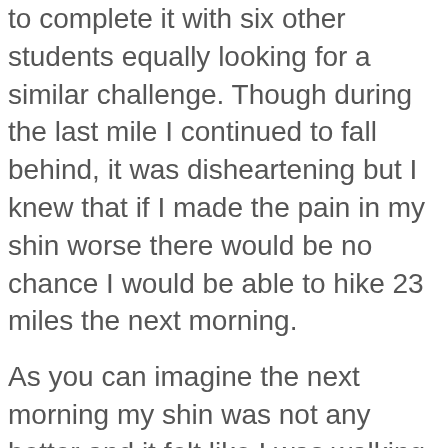to complete it with six other students equally looking for a similar challenge. Though during the last mile I continued to fall behind, it was disheartening but I knew that if I made the pain in my shin worse there would be no chance I would be able to hike 23 miles the next morning.
As you can imagine the next morning my shin was not any better and it felt like I was walking on a broken ankle. The shin splints did not extend past my ankle area which was really strange because normally when I had shin splints in the past it would only be in my shins. Every step I took felt as if I was slowly tearing every muscle, tendon, or ligament in my ankle. During one of our breaks I skipped breakfast and rubbed ibuprofen lotion all over my ankle and wrapped it. I was in so much pain that I did not say a single word